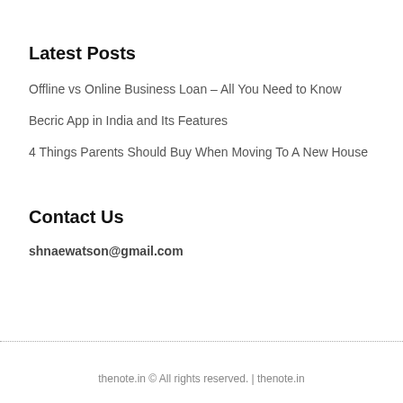Latest Posts
Offline vs Online Business Loan – All You Need to Know
Becric App in India and Its Features
4 Things Parents Should Buy When Moving To A New House
Contact Us
shnaewatson@gmail.com
thenote.in © All rights reserved. | thenote.in